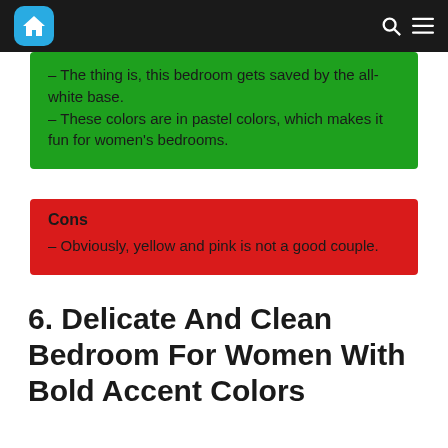Home icon, search icon, menu icon
– The thing is, this bedroom gets saved by the all-white base.
– These colors are in pastel colors, which makes it fun for women's bedrooms.
Cons
– Obviously, yellow and pink is not a good couple.
6. Delicate And Clean Bedroom For Women With Bold Accent Colors